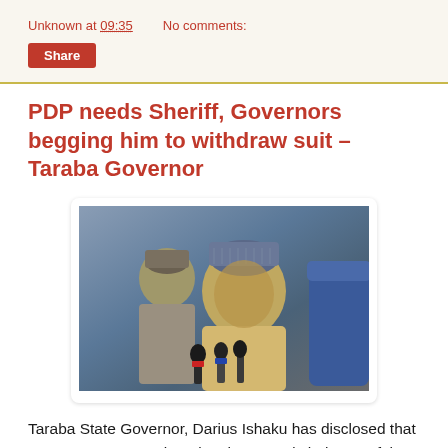Unknown at 09:35    No comments:
Share
PDP needs Sheriff, Governors begging him to withdraw suit – Taraba Governor
[Figure (photo): Photo of a Nigerian politician in traditional attire speaking into microphones at a press conference, with another man visible in the background.]
Taraba State Governor, Darius Ishaku has disclosed that PDP governors are begging the ousted chairman of the party, Senator Ali Madu Sheriff, to withdraw the court case